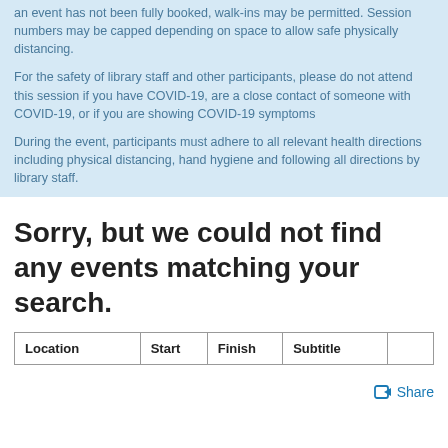an event has not been fully booked, walk-ins may be permitted. Session numbers may be capped depending on space to allow safe physically distancing.
For the safety of library staff and other participants, please do not attend this session if you have COVID-19, are a close contact of someone with COVID-19, or if you are showing COVID-19 symptoms
During the event, participants must adhere to all relevant health directions including physical distancing, hand hygiene and following all directions by library staff.
Sorry, but we could not find any events matching your search.
| Location | Start | Finish | Subtitle |  |
| --- | --- | --- | --- | --- |
Share